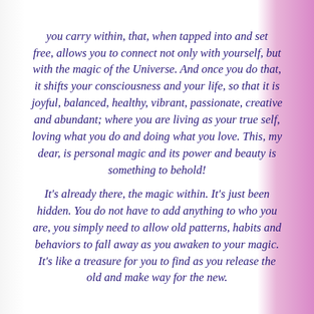you carry within, that, when tapped into and set free, allows you to connect not only with yourself, but with the magic of the Universe. And once you do that, it shifts your consciousness and your life, so that it is joyful, balanced, healthy, vibrant, passionate, creative and abundant; where you are living as your true self, loving what you do and doing what you love. This, my dear, is personal magic and its power and beauty is something to behold!

It's already there, the magic within. It's just been hidden. You do not have to add anything to who you are, you simply need to allow old patterns, habits and behaviors to fall away as you awaken to your magic. It's like a treasure for you to find as you release the old and make way for the new.